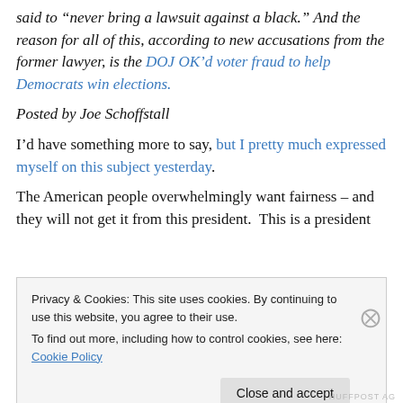said to “never bring a lawsuit against a black.” And the reason for all of this, according to new accusations from the former lawyer, is the DOJ OK’d voter fraud to help Democrats win elections.
Posted by Joe Schoffstall
I’d have something more to say, but I pretty much expressed myself on this subject yesterday.
The American people overwhelmingly want fairness – and they will not get it from this president. This is a president
Privacy & Cookies: This site uses cookies. By continuing to use this website, you agree to their use.
To find out more, including how to control cookies, see here: Cookie Policy
Close and accept